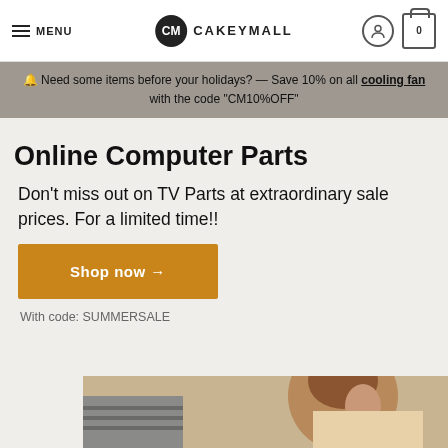MENU | CAKEYMALL | [user icon] [cart 0]
🔔 Need some items before your holidays? — Save 10% on all cooling fan with the code "CM10%OFF"
Online Computer Parts
Don't miss out on TV Parts at extraordinary sale prices. For a limited time!!
Shop now →
With code: SUMMERSALE
[Figure (photo): Partial photo of a person, visible from shoulders up, at the bottom of the page]